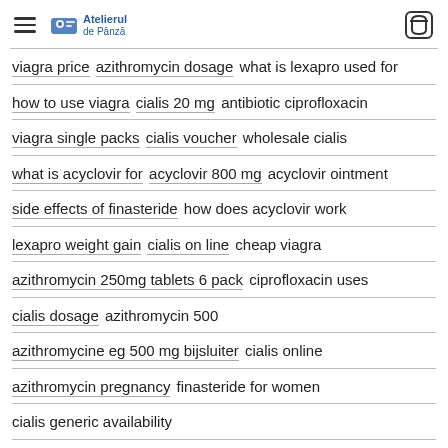Atelierul de Pânză
viagra price azithromycin dosage what is lexapro used for
how to use viagra cialis 20 mg antibiotic ciprofloxacin
viagra single packs cialis voucher wholesale cialis
what is acyclovir for acyclovir 800 mg acyclovir ointment
side effects of finasteride how does acyclovir work
lexapro weight gain cialis on line cheap viagra
azithromycin 250mg tablets 6 pack ciprofloxacin uses
cialis dosage azithromycin 500
azithromycine eg 500 mg bijsluiter cialis online
azithromycin pregnancy finasteride for women
cialis generic availability
escitalopram 10 mg para que sirve discount cialis
viagra wikipedia cialis without a doctor's prescription